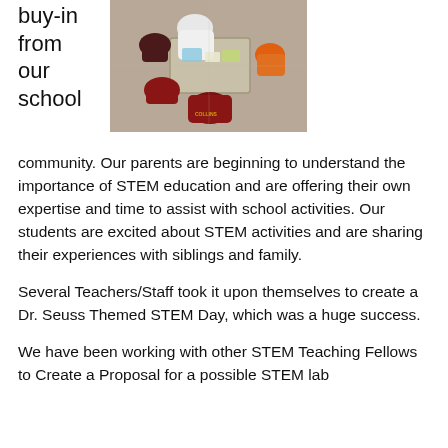buy-in from our school
[Figure (photo): Overhead view of students and a teacher/adult sitting on the floor around a table working on a STEM activity together. Students wearing maroon/gold sweatshirts including one labeled 'COLLINS'.]
community. Our parents are beginning to understand the importance of STEM education and are offering their own expertise and time to assist with school activities. Our students are excited about STEM activities and are sharing their experiences with siblings and family.
Several Teachers/Staff took it upon themselves to create a Dr. Seuss Themed STEM Day, which was a huge success.
We have been working with other STEM Teaching Fellows to Create a Proposal for a possible STEM lab